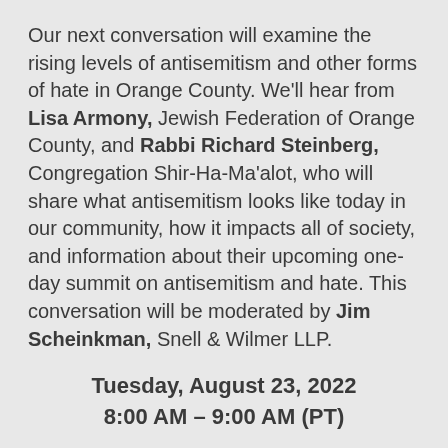Our next conversation will examine the rising levels of antisemitism and other forms of hate in Orange County. We'll hear from Lisa Armony, Jewish Federation of Orange County, and Rabbi Richard Steinberg, Congregation Shir-Ha-Ma'alot, who will share what antisemitism looks like today in our community, how it impacts all of society, and information about their upcoming one-day summit on antisemitism and hate. This conversation will be moderated by Jim Scheinkman, Snell & Wilmer LLP.
Tuesday, August 23, 2022
8:00 AM – 9:00 AM (PT)
[Figure (other): Orange button with white bold text reading REGISTER >>]